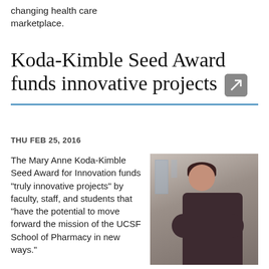changing health care marketplace.
Koda-Kimble Seed Award funds innovative projects
THU FEB 25, 2016
The Mary Anne Koda-Kimble Seed Award for Innovation funds “truly innovative projects” by faculty, staff, and students that “have the potential to move forward the mission of the UCSF School of Pharmacy in new ways.”
[Figure (photo): Portrait photo of Mary Anne Koda-Kimble, a woman with short dark hair wearing a dark blazer and colorful scarf, arms crossed, standing in front of a building.]